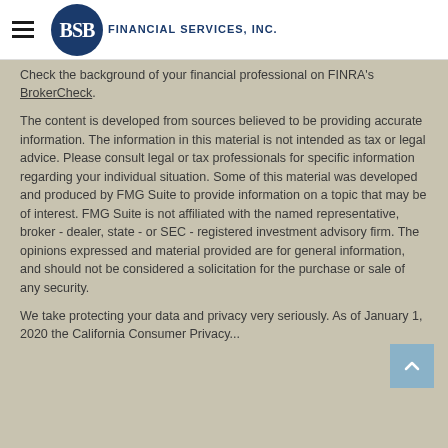[Figure (logo): BSB Financial Services, Inc. logo with dark blue circular BSB emblem and text]
Check the background of your financial professional on FINRA's BrokerCheck.
The content is developed from sources believed to be providing accurate information. The information in this material is not intended as tax or legal advice. Please consult legal or tax professionals for specific information regarding your individual situation. Some of this material was developed and produced by FMG Suite to provide information on a topic that may be of interest. FMG Suite is not affiliated with the named representative, broker - dealer, state - or SEC - registered investment advisory firm. The opinions expressed and material provided are for general information, and should not be considered a solicitation for the purchase or sale of any security.
We take protecting your data and privacy very seriously. As of January 1, 2020 the California Consumer Privacy...